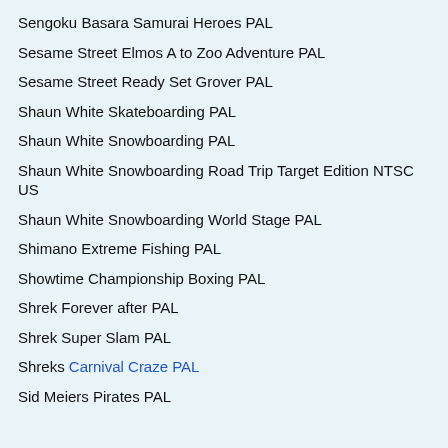Sengoku Basara Samurai Heroes PAL
Sesame Street Elmos A to Zoo Adventure PAL
Sesame Street Ready Set Grover PAL
Shaun White Skateboarding PAL
Shaun White Snowboarding PAL
Shaun White Snowboarding Road Trip Target Edition NTSC US
Shaun White Snowboarding World Stage PAL
Shimano Extreme Fishing PAL
Showtime Championship Boxing PAL
Shrek Forever after PAL
Shrek Super Slam PAL
Shreks Carnival Craze PAL
Sid Meiers Pirates PAL